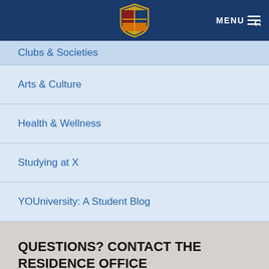MENU
Clubs & Societies
Arts & Culture
Health & Wellness
Studying at X
YOUniversity: A Student Blog
QUESTIONS? CONTACT THE RESIDENCE OFFICE
Email: residence@stfx.ca